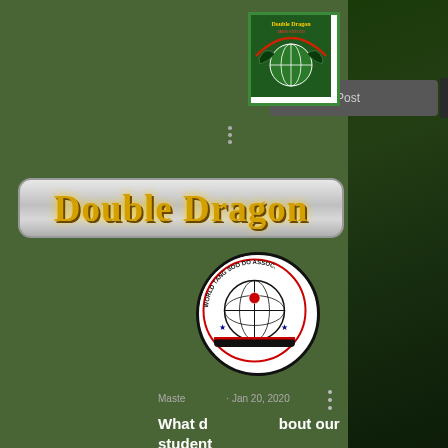[Figure (screenshot): Screenshot of a social media / blog post management interface for Double Dragon Tang Soo Do. Shows the Double Dragon logo, World Tang Soo Do Association logo, a 'Create New Post' bar, two blog post entries with like/comment counts and dates.]
Double Dragon
Master · Jan 20, 2020
What d... bout our student Instructor...
0   0   posted Jan 20, 2020
annadutcher5 · Feb 16, 2019
My Best Double Dragon Memory
There are so many absolutely wonderful memories with our Double Dragon family. It's very hard to pick just one. I would say that there is an extremely...
1   0   posted Feb 16, 2019